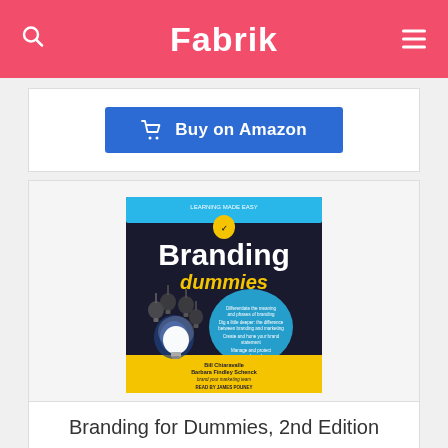Fabrik
Buy on Amazon
[Figure (illustration): Book cover: Branding for Dummies 2nd Edition audiobook. Dark background with lightbulbs hanging, one glowing brighter. Authors: Bill Chiaravalle, Barbara Findley Schenck. Read by James Pouney.]
Branding for Dummies, 2nd Edition
Price: $18.37